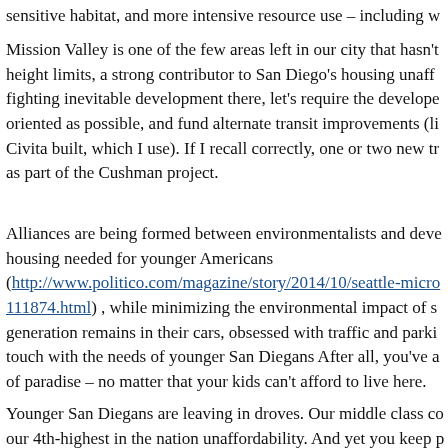sensitive habitat, and more intensive resource use – including w
Mission Valley is one of the few areas left in our city that hasn't height limits, a strong contributor to San Diego's housing unaff fighting inevitable development there, let's require the developer oriented as possible, and fund alternate transit improvements (li Civita built, which I use). If I recall correctly, one or two new tr as part of the Cushman project.
Alliances are being formed between environmentalists and deve housing needed for younger Americans (http://www.politico.com/magazine/story/2014/10/seattle-micro 111874.html) , while minimizing the environmental impact of s generation remains in their cars, obsessed with traffic and parki touch with the needs of younger San Diegans After all, you've a of paradise – no matter that your kids can't afford to live here.
Younger San Diegans are leaving in droves. Our middle class co our 4th-highest in the nation unaffordability. And yet you keep p